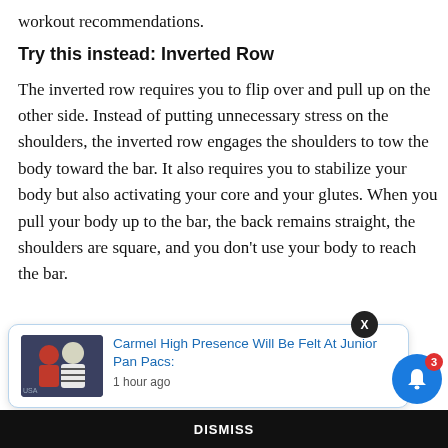workout recommendations.
Try this instead: Inverted Row
The inverted row requires you to flip over and pull up on the other side. Instead of putting unnecessary stress on the shoulders, the inverted row engages the shoulders to tow the body toward the bar. It also requires you to stabilize your body but also activating your core and your glutes. When you pull your body up to the bar, the back remains straight, the shoulders are square, and you don't use your body to reach the bar.
[Figure (screenshot): Notification popup with image of two men, link text 'Carmel High Presence Will Be Felt At Junior Pan Pacs:' and timestamp '1 hour ago', with X close button and blue bell notification icon with badge '3']
DISMISS